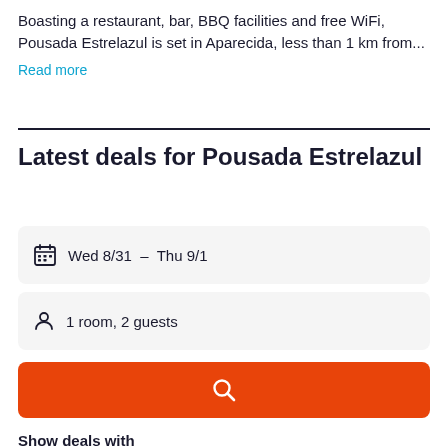Boasting a restaurant, bar, BBQ facilities and free WiFi, Pousada Estrelazul is set in Aparecida, less than 1 km from...
Read more
Latest deals for Pousada Estrelazul
Wed 8/31 – Thu 9/1
1 room, 2 guests
[Figure (other): Orange search button with white magnifying glass icon]
Show deals with